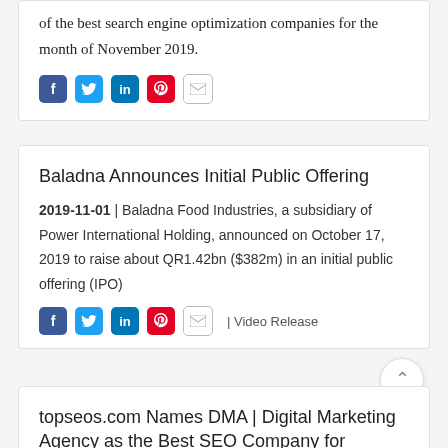of the best search engine optimization companies for the month of November 2019.
[Figure (infographic): Social share icons: Facebook, Twitter, LinkedIn, Pinterest, Email]
Baladna Announces Initial Public Offering
2019-11-01 | Baladna Food Industries, a subsidiary of Power International Holding, announced on October 17, 2019 to raise about QR1.42bn ($382m) in an initial public offering (IPO)
[Figure (infographic): Social share icons: Facebook, Twitter, LinkedIn, Pinterest, Email | Video Release link]
topseos.com Names DMA | Digital Marketing Agency as the Best SEO Company for November